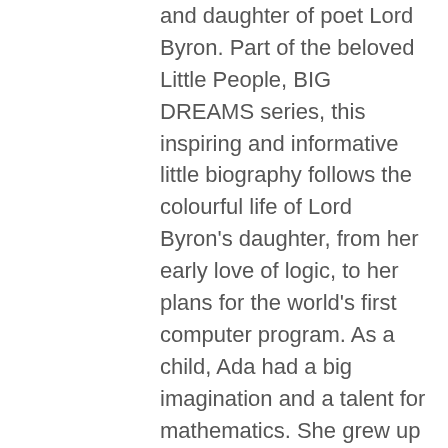and daughter of poet Lord Byron. Part of the beloved Little People, BIG DREAMS series, this inspiring and informative little biography follows the colourful life of Lord Byron's daughter, from her early love of logic, to her plans for the world's first computer program. As a child, Ada had a big imagination and a talent for mathematics. She grew up in a noble household in England, where she dedicated herself to studying. Her work with the famous inventor, Charles Babbage, on a very early kind of computer made her the world's first computer programmer. This moving book features stylish and quirky illustrations and extra facts at the back, including a biographical timeline with historical images and a detailed profile of the mathematician's life. Little People, BIG DREAMS is a bestselling series of books and educational games that explores the lives of outstanding people, from